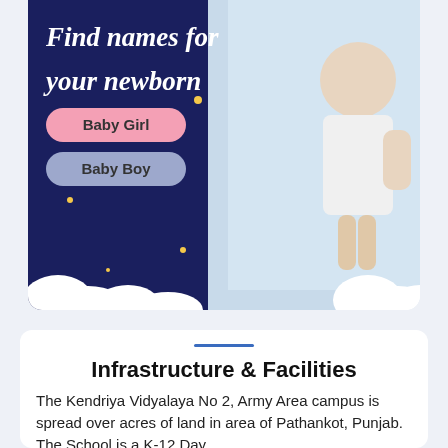[Figure (illustration): Advertisement banner with dark navy blue background on the left showing the text 'Find names for your newborn' with Baby Girl and Baby Boy buttons, and a photo of a baby in a white onesie standing on the right side.]
Infrastructure & Facilities
The Kendriya Vidyalaya No 2, Army Area campus is spread over acres of land in area of Pathankot, Punjab. The School is a K-12 Day